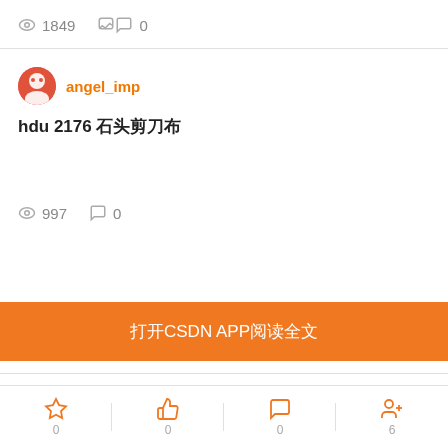👁 1849   💬 0
angel_imp
hdu 2176 石头剪刀布
👁 997   💬 0
[Figure (other): Orange banner button with text 打开CSDN APP阅读全文]
博主推荐
OpenJudge竞赛-图论与搜索:矩阵最短路
收藏 0  点赞 0  评论 0  关注 6